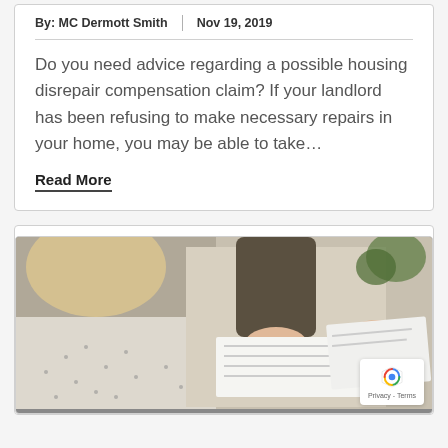By: MC Dermott Smith | Nov 19, 2019
Do you need advice regarding a possible housing disrepair compensation claim? If your landlord has been refusing to make necessary repairs in your home, you may be able to take…
Read More
[Figure (photo): Two people sitting at a desk, one signing documents with a pen while another person reviews papers in the background]